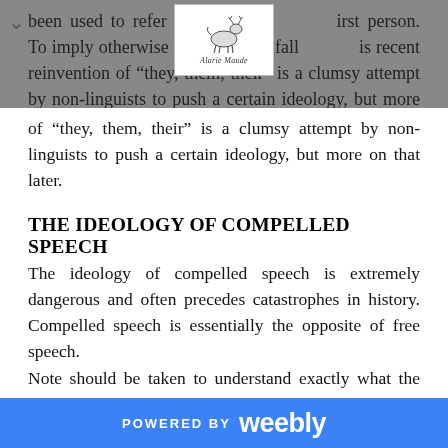been used to refer to someone in first person. To imply otherwise is an outright fallacy. This recent reinvention of “they, them, their” is a clumsy attempt by non-linguists to push a certain ideology, but more on that later.
[Figure (logo): Logo depicting a deer/goat animal figure with text 'Marie Maude' below it]
THE IDEOLOGY OF COMPELLED SPEECH
The ideology of compelled speech is extremely dangerous and often precedes catastrophes in history. Compelled speech is essentially the opposite of free speech.
Note should be taken to understand exactly what the nature of free speech is. It includes the ability to express controversial ideas freely and to debate issues that may
POWERED BY weebly